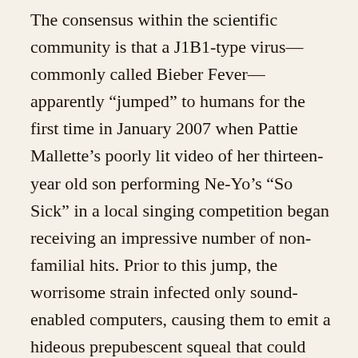The consensus within the scientific community is that a J1B1-type virus—commonly called Bieber Fever—apparently "jumped" to humans for the first time in January 2007 when Pattie Mallette's poorly lit video of her thirteen-year old son performing Ne-Yo's "So Sick" in a local singing competition began receiving an impressive number of non-familial hits. Prior to this jump, the worrisome strain infected only sound-enabled computers, causing them to emit a hideous prepubescent squeal that could only be cured by smashing the afflicted machine to bits (pronounced "bytes"). Twenty-four-year-old industry mogul Scott "Scooter" Braun was the first to be infected with this particularly ominous version of the J1B1 virus, which he then transmitted to best-selling R&B recording artist Usher. From there, the J1B1 pathogen entered